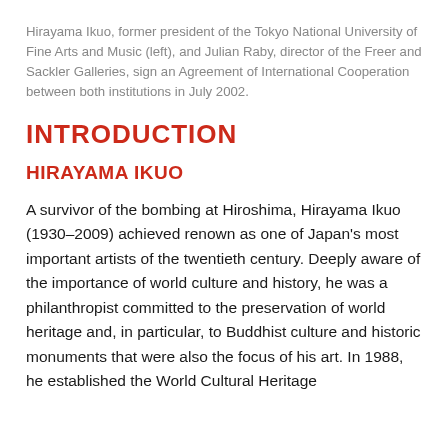Hirayama Ikuo, former president of the Tokyo National University of Fine Arts and Music (left), and Julian Raby, director of the Freer and Sackler Galleries, sign an Agreement of International Cooperation between both institutions in July 2002.
INTRODUCTION
HIRAYAMA IKUO
A survivor of the bombing at Hiroshima, Hirayama Ikuo (1930–2009) achieved renown as one of Japan's most important artists of the twentieth century. Deeply aware of the importance of world culture and history, he was a philanthropist committed to the preservation of world heritage and, in particular, to Buddhist culture and historic monuments that were also the focus of his art. In 1988, he established the World Cultural Heritage